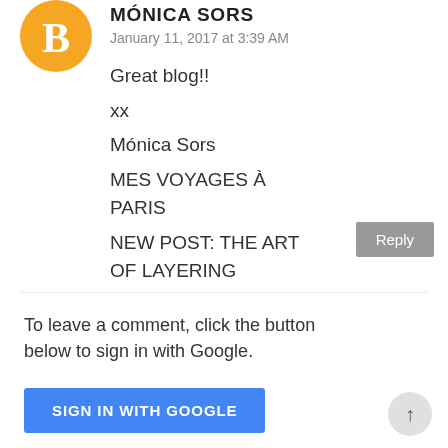[Figure (logo): Orange Blogger 'B' avatar circle icon]
MÓNICA SORS
January 11, 2017 at 3:39 AM
Great blog!!

xx

Mónica Sors
MES VOYAGES À PARIS
NEW POST: THE ART OF LAYERING
Reply
To leave a comment, click the button below to sign in with Google.
SIGN IN WITH GOOGLE